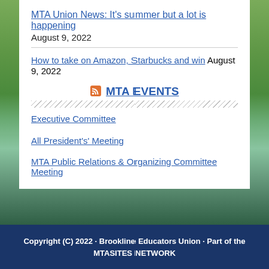MTA Union News: It's summer but a lot is happening August 9, 2022
How to take on Amazon, Starbucks and win August 9, 2022
MTA EVENTS
Executive Committee
All President's' Meeting
MTA Public Relations & Organizing Committee Meeting
Copyright (C) 2022 · Brookline Educators Union · Part of the MTASITES NETWORK